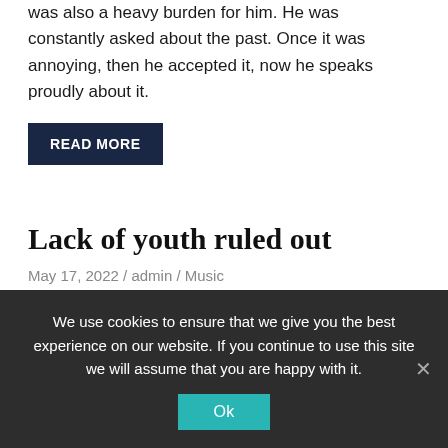was also a heavy burden for him. He was constantly asked about the past. Once it was annoying, then he accepted it, now he speaks proudly about it.
READ MORE
Lack of youth ruled out
May 17, 2022 / admin / Music
[Figure (photo): Group of musicians playing instruments including brass, woodwind and drums in a rehearsal room]
We use cookies to ensure that we give you the best experience on our website. If you continue to use this site we will assume that you are happy with it.